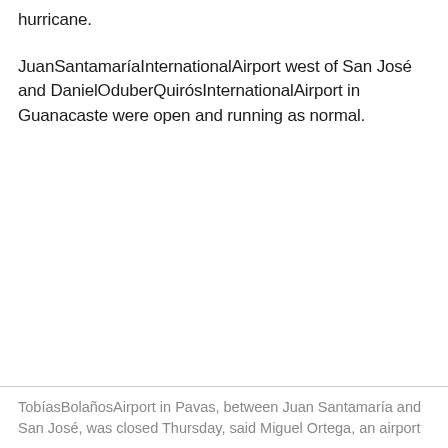hurricane.
JuanSantamaríaInternationalAirport west of San José and DanielOduberQuirósInternationalAirport in Guanacaste were open and running as normal.
TobíasBolañosAirport in Pavas, between Juan Santamaría and San José, was closed Thursday, said Miguel Ortega, an airport